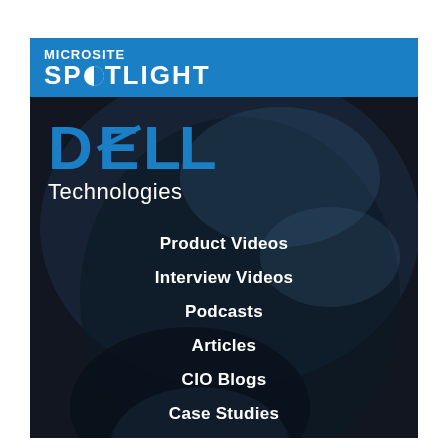MICROSITE SPOTLIGHT
[Figure (logo): Dell Technologies logo with blue DELL wordmark and white Technologies text]
Product Videos
Interview Videos
Podcasts
Articles
CIO Blogs
Case Studies
Papers
E-Guides